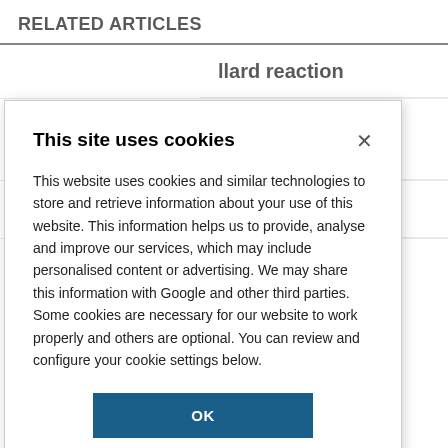RELATED ARTICLES
llard reaction
arcinogens to
d foods
d a series of
This site uses cookies
This website uses cookies and similar technologies to store and retrieve information about your use of this website. This information helps us to provide, analyse and improve our services, which may include personalised content or advertising. We may share this information with Google and other third parties. Some cookies are necessary for our website to work properly and others are optional. You can review and configure your cookie settings below.
OK
COOKIE SETTINGS